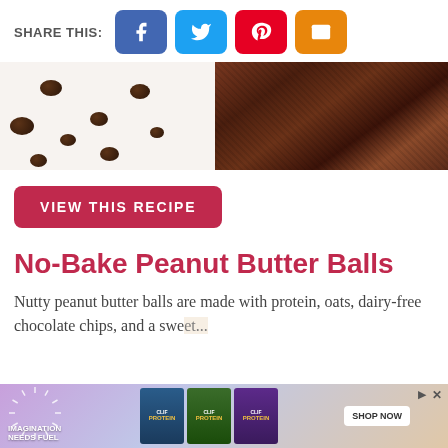SHARE THIS:
[Figure (photo): Close-up photo of chocolate chips on left and a chocolate brownie piece on right]
VIEW THIS RECIPE
No-Bake Peanut Butter Balls
Nutty peanut butter balls are made with protein, oats, dairy-free chocolate chips, and a swee... for a healthy, delicious fi...
[Figure (photo): Advertisement banner: IMAGINATION NEEDS FUEL with Clif protein bar products and SHOP NOW button]